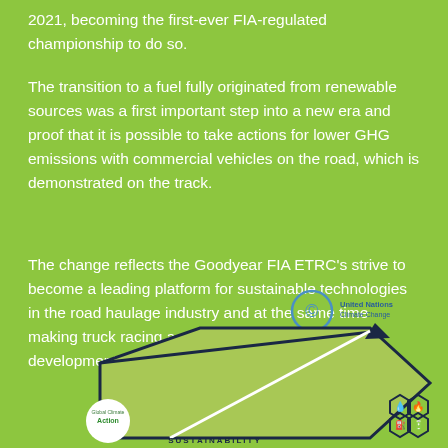2021, becoming the first-ever FIA-regulated championship to do so.
The transition to a fuel fully originated from renewable sources was a first important step into a new era and proof that it is possible to take actions for lower GHG emissions with commercial vehicles on the road, which is demonstrated on the track.
The change reflects the Goodyear FIA ETRC’s strive to become a leading platform for sustainable technologies in the road haulage industry and at the same time making truck racing a relevant research and development platform for manufacturers.
[Figure (infographic): Sustainability diagram showing a hexagonal shape with 'SUSTAINABILITY' label at bottom, United Nations Climate Change logo, Global Climate Action logo, and icons for various environmental categories on the right.]